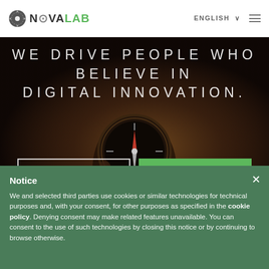[Figure (logo): NovaLab logo with circular dot icon and green LAB text]
ENGLISH ∨
[Figure (illustration): Hero section with compass held in hand against dark brown background]
WE DRIVE PEOPLE WHO BELIEVE IN DIGITAL INNOVATION.
LEARN MORE
CONTACT US
Notice
We and selected third parties use cookies or similar technologies for technical purposes and, with your consent, for other purposes as specified in the cookie policy. Denying consent may make related features unavailable. You can consent to the use of such technologies by closing this notice or by continuing to browse otherwise.